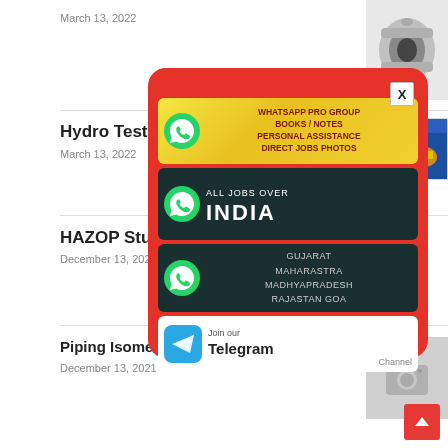March 13, 2022
[Figure (photo): Metal coupling/connector component photo, top right]
Hydro Test Process
March 13, 2022
[Figure (illustration): Sketch for Hydro test diagram with vessels and piping]
HAZOP Study
December 13, 2021
Piping Isometric drawing and Check points
December 13, 2021
[Figure (other): Popup advertisement with WhatsApp group promotions and Telegram channel join link. Contains: WhatsApp PRO GROUP BOOKS/NOTES PERSONAL ASSISTANCE DIRECT JOBS PHOTOS; ALL JOBS OVER INDIA; GUJARAT MAHARASTRA MADHYAPRADESH RAJASTAN GOA; Join our Telegram Channel]
[Figure (photo): Placeholder image with camera icon for Piping Isometric drawing article]